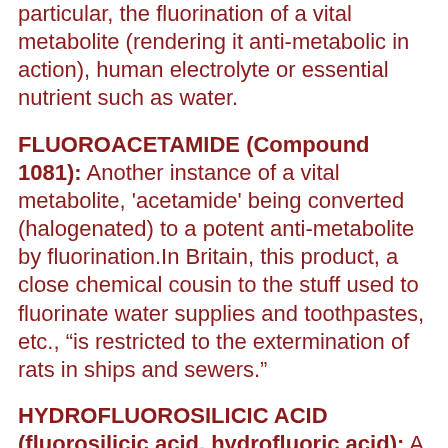particular, the fluorination of a vital metabolite (rendering it anti-metabolic in action), human electrolyte or essential nutrient such as water.
FLUOROACETAMIDE (Compound 1081): Another instance of a vital metabolite, 'acetamide' being converted (halogenated) to a potent anti-metabolite by fluorination.In Britain, this product, a close chemical cousin to the stuff used to fluorinate water supplies and toothpastes, etc., “is restricted to the extermination of rats in ships and sewers.”
HYDROFLUOROSILICIC ACID (fluorosilicic acid, hydrofluoric acid): A toxic ‘waste product’ of the fertilizer industry, it is now used for fluoridation of drinking water.To quote from medical literature, “Warning: Inhalation Hazard. Inhalation